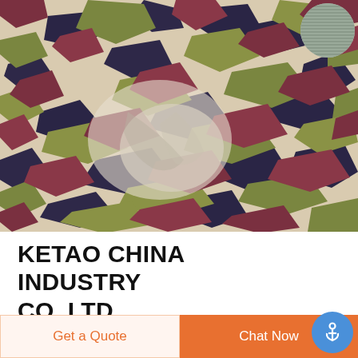[Figure (photo): Camouflage fabric with green, brown, white and dark purple pixelated camouflage pattern, fabric is twisted/bunched in the center. A circular swatch of grey/green fabric in the top right corner.]
KETAO CHINA INDUSTRY CO.,LTD
Sintered Silicon Carbide(SSiC) SSiC ceramics are made of high-purity, ultra-fine silicon carbide
Get a Quote
Chat Now